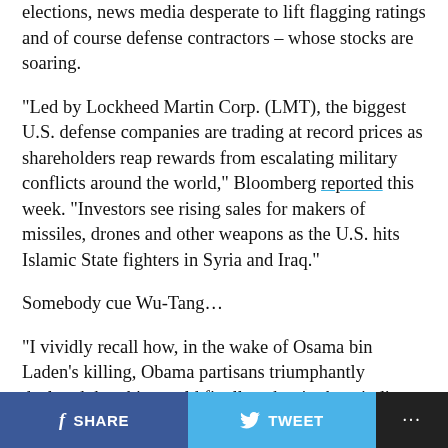elections, news media desperate to lift flagging ratings and of course defense contractors – whose stocks are soaring.
“Led by Lockheed Martin Corp. (LMT), the biggest U.S. defense companies are trading at record prices as shareholders reap rewards from escalating military conflicts around the world,” Bloomberg reported this week. “Investors see rising sales for makers of missiles, drones and other weapons as the U.S. hits Islamic State fighters in Syria and Iraq.”
Somebody cue Wu-Tang…
“I vividly recall how, in the wake of Osama bin Laden’s killing, Obama partisans triumphantly declared that this would finally usher in the winding down of the War on
SHARE   TWEET   ...